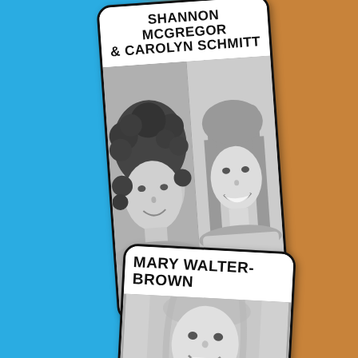[Figure (photo): Card with two black-and-white headshot photos side by side. Left: woman with curly hair smiling. Right: young woman with straight hair smiling broadly. Title above reads SHANNON MCGREGOR & CAROLYN SCHMITT.]
SHANNON MCGREGOR & CAROLYN SCHMITT
[Figure (photo): Card with black-and-white headshot photo of woman with long blonde hair smiling. Title reads MARY WALTER-BROWN.]
MARY WALTER-BROWN